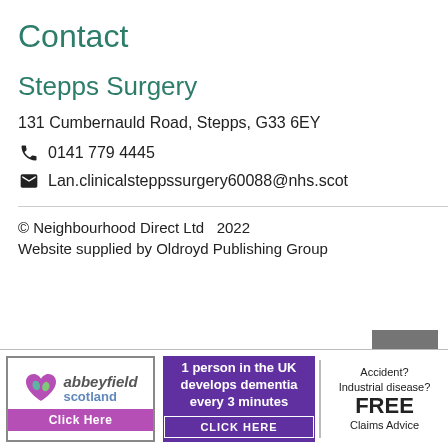Contact
Stepps Surgery
131 Cumbernauld Road, Stepps, G33 6EY
0141 779 4445
Lan.clinicalsteppssurgery60088@nhs.scot
© Neighbourhood Direct Ltd  2022
Website supplied by Oldroyd Publishing Group
[Figure (illustration): Scroll to top button - dark grey square with upward pointing chevron arrow in white]
[Figure (illustration): Abbeyfield Scotland advertisement banner with logo and click here button]
[Figure (illustration): 1 person in the UK develops dementia every 3 minutes - CLICK HERE banner ad]
[Figure (illustration): Accident? Industrial disease? FREE Claims Advice advertisement]